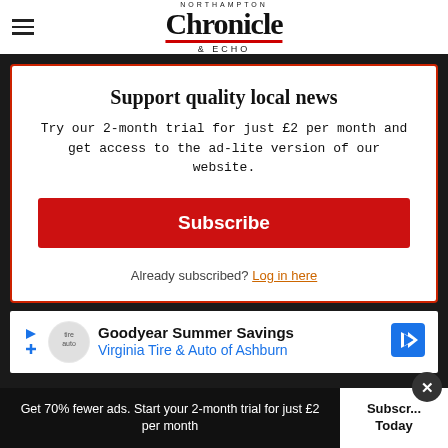[Figure (logo): Northampton Chronicle & Echo newspaper logo with red underline]
Support quality local news
Try our 2-month trial for just £2 per month and get access to the ad-lite version of our website.
Subscribe
Already subscribed? Log in here
[Figure (infographic): Goodyear Summer Savings - Virginia Tire & Auto of Ashburn advertisement banner]
Get 70% fewer ads. Start your 2-month trial for just £2 per month
Subscribe Today